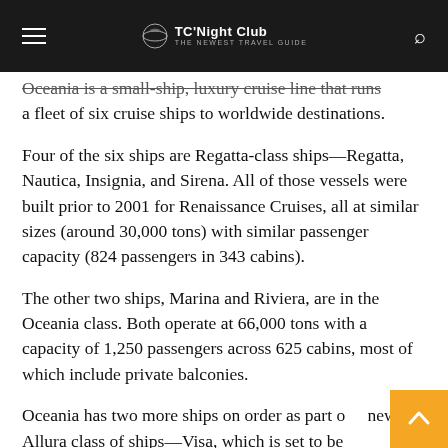TC'Night Club
Oceania is a small-ship, luxury cruise line that runs a fleet of six cruise ships to worldwide destinations.
Four of the six ships are Regatta-class ships—Regatta, Nautica, Insignia, and Sirena. All of those vessels were built prior to 2001 for Renaissance Cruises, all at similar sizes (around 30,000 tons) with similar passenger capacity (824 passengers in 343 cabins).
The other two ships, Marina and Riviera, are in the Oceania class. Both operate at 66,000 tons with a capacity of 1,250 passengers across 625 cabins, most of which include private balconies.
Oceania has two more ships on order as part of a new Allura class of ships—Visa, which is set to be